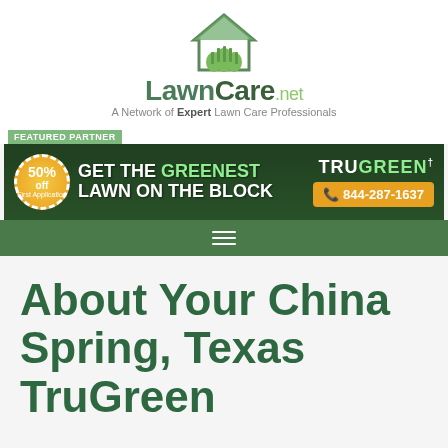[Figure (logo): LawnCare.net logo with house and grass icon, tagline: A Network of Expert Lawn Care Professionals]
[Figure (infographic): TruGreen featured partner banner: GET THE GREENEST LAWN ON THE BLOCK, 50% off first application, phone 844-287-1637]
[Figure (other): Green navigation bar with hamburger menu icon]
About Your China Spring, Texas TruGreen